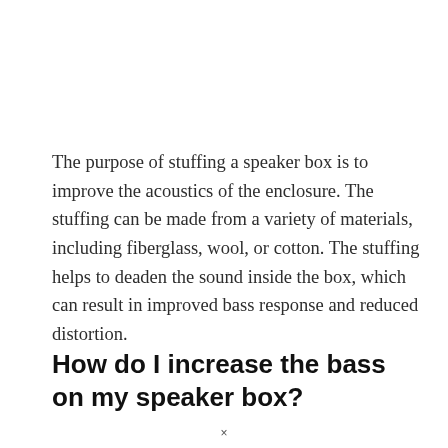The purpose of stuffing a speaker box is to improve the acoustics of the enclosure. The stuffing can be made from a variety of materials, including fiberglass, wool, or cotton. The stuffing helps to deaden the sound inside the box, which can result in improved bass response and reduced distortion.
How do I increase the bass on my speaker box?